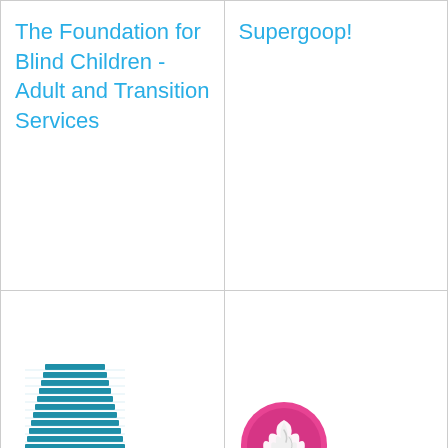The Foundation for Blind Children - Adult and Transition Services
Supergoop!
[Figure (logo): Building/skyscraper icon in teal/blue]
Platinum Healthcare Staffing, Inc.
[Figure (logo): Tasti D-Lite logo: pink circle with ice cream swirl, text 'tasti D·lite']
Tasti D-Lite LLC
Company
[Figure (logo): Building/skyscraper icon in teal/blue]
[Figure (logo): Building/skyscraper icon in teal/blue]